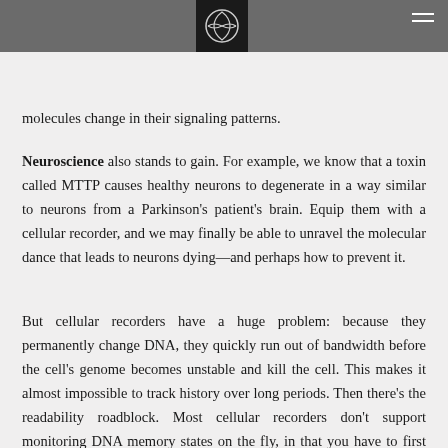equipped with a 'recorder' can provide an entire history of surveillance footage while a cell gets sick, including how its molecules change in their signaling patterns.
Neuroscience also stands to gain. For example, we know that a toxin called MTTP causes healthy neurons to degenerate in a way similar to neurons from a Parkinson's patient's brain. Equip them with a cellular recorder, and we may finally be able to unravel the molecular dance that leads to neurons dying—and perhaps how to prevent it.
But cellular recorders have a huge problem: because they permanently change DNA, they quickly run out of bandwidth before the cell's genome becomes unstable and kill the cell. This makes it almost impossible to track history over long periods. Then there's the readability roadblock. Most cellular recorders don't support monitoring DNA memory states on the fly, in that you have to first kill and destroy the cell. It's similar to smashing